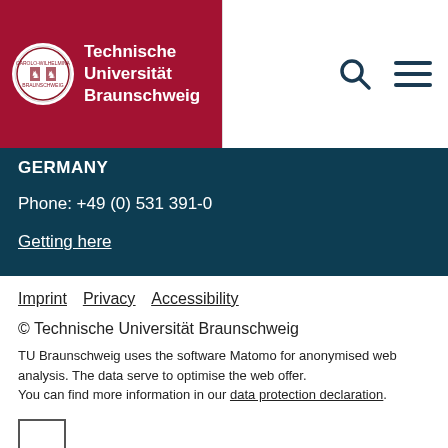[Figure (logo): Technische Universität Braunschweig logo with red background, circular seal on the left, and white bold text 'Technische Universität Braunschweig' on the right. Search and hamburger menu icons on far right.]
GERMANY
Phone: +49 (0) 531 391-0
Getting here
Imprint   Privacy   Accessibility
© Technische Universität Braunschweig
TU Braunschweig uses the software Matomo for anonymised web analysis. The data serve to optimise the web offer. You can find more information in our data protection declaration.
[Figure (other): Small empty checkbox square]